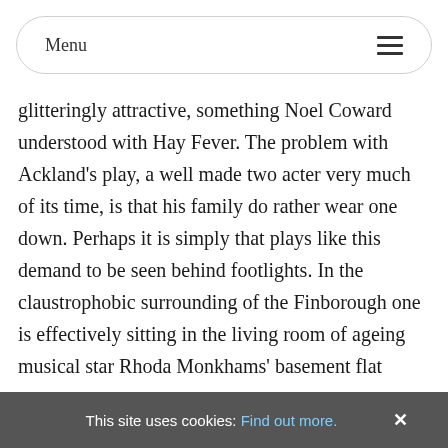Menu
glitteringly attractive, something Noel Coward understood with Hay Fever. The problem with Ackland's play, a well made two acter very much of its time, is that his family do rather wear one down. Perhaps it is simply that plays like this demand to be seen behind footlights. In the claustrophobic surrounding of the Finborough one is effectively sitting in the living room of ageing musical star Rhoda Monkhams' basement flat somewhere off Haverstock Hill, much too close for comfort. It is one thing viewing the angel fish and the piranhas through glass in the aquarium, quite another
This site uses cookies: Find out more. ×